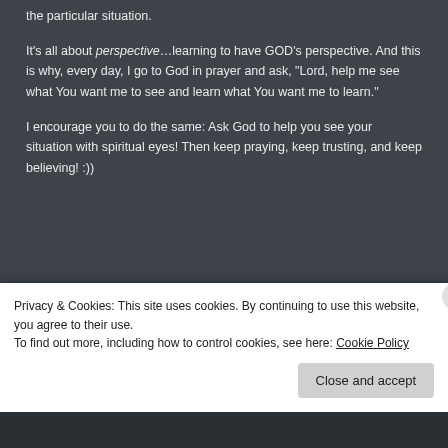the particular situation.
It's all about perspective...learning to have GOD's perspective. And this is why, every day, I go to God in prayer and ask, “Lord, help me see what You want me to see and learn what You want me to learn.”
I encourage you to do the same: Ask God to help you see your situation with spiritual eyes! Then keep praying, keep trusting, and keep believing! :))
God Is Always Doing
Privacy & Cookies: This site uses cookies. By continuing to use this website, you agree to their use.
To find out more, including how to control cookies, see here: Cookie Policy